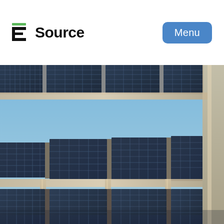[Figure (logo): E Source logo with green-accented E icon and bold sans-serif 'Source' text]
[Figure (other): Menu button — rounded blue rectangle with white 'Menu' text]
[Figure (photo): Upward-angle photograph of solar panel canopy arrays mounted on metal support structures against a clear blue sky, showing three tiers of photovoltaic panels]